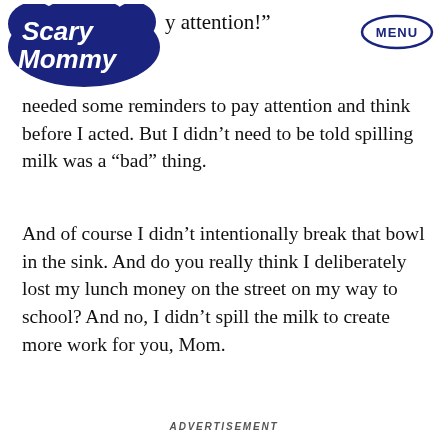Scary Mommy | attention!" MENU
needed some reminders to pay attention and think before I acted. But I didn’t need to be told spilling milk was a “bad” thing.
And of course I didn’t intentionally break that bowl in the sink. And do you really think I deliberately lost my lunch money on the street on my way to school? And no, I didn’t spill the milk to create more work for you, Mom.
ADVERTISEMENT